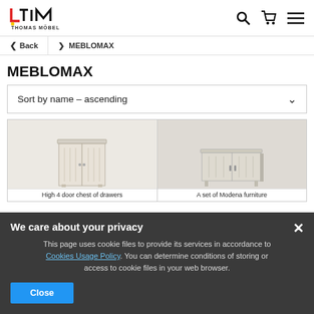[Figure (logo): Thomas Möbel logo with stylized TM letters and brand name]
< Back  > MEBLOMAX
MEBLOMAX
Sort by name - ascending
[Figure (photo): High 4 door chest of drawers product image]
[Figure (photo): A set of Modena furniture product image]
High 4 door chest of drawers
A set of Modena furniture
We care about your privacy
This page uses cookie files to provide its services in accordance to Cookies Usage Policy. You can determine conditions of storing or access to cookie files in your web browser.
Close